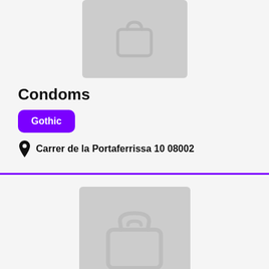[Figure (illustration): Placeholder shopping bag icon, top cropped, gray background]
Condoms
Gothic
Carrer de la Portaferrissa 10 08002
[Figure (illustration): Placeholder shopping bag icon, full view, gray background]